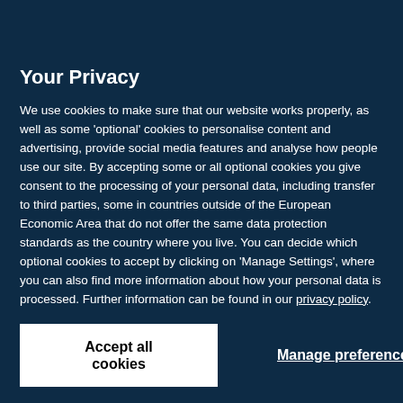| Service / Location | Frequency |
| --- | --- |
| CAMHS worker | Monthly |
| Bayulu (pop. 271; 20 km*) |  |
| Specialist – Paediatrician | 6 times/year (Thursdays) |
Your Privacy
We use cookies to make sure that our website works properly, as well as some 'optional' cookies to personalise content and advertising, provide social media features and analyse how people use our site. By accepting some or all optional cookies you give consent to the processing of your personal data, including transfer to third parties, some in countries outside of the European Economic Area that do not offer the same data protection standards as the country where you live. You can decide which optional cookies to accept by clicking on 'Manage Settings', where you can also find more information about how your personal data is processed. Further information can be found in our privacy policy.
Accept all cookies
Manage preferences